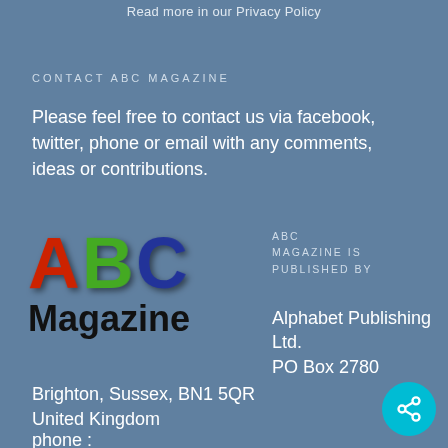Read more in our Privacy Policy
CONTACT ABC MAGAZINE
Please feel free to contact us via facebook, twitter, phone or email with any comments, ideas or contributions.
[Figure (logo): ABC Magazine logo with colorful 3D letters A (red), B (green), C (blue) above the word Magazine in bold black text]
ABC MAGAZINE IS PUBLISHED BY

Alphabet Publishing Ltd.
PO Box 2780
Brighton, Sussex, BN1 5QR
United Kingdom
phone :